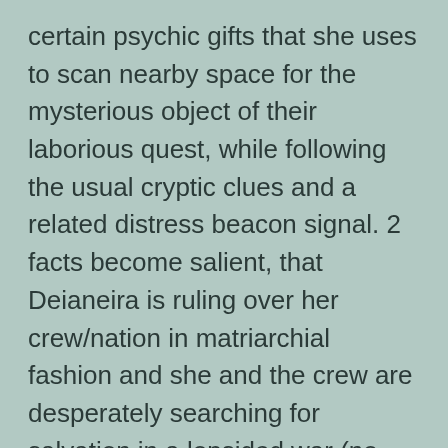certain psychic gifts that she uses to scan nearby space for the mysterious object of their laborious quest, while following the usual cryptic clues and a related distress beacon signal. 2 facts become salient, that Deianeira is ruling over her crew/nation in matriarchial fashion and she and the crew are desperately searching for salvation in a lopsided war (no, there are no Vipers around. At least, not in this ep.) In a turn of events very convenient to the viewer, they've discovered the planet they've been looking for, and an armed scouting party are sent down with the princess.